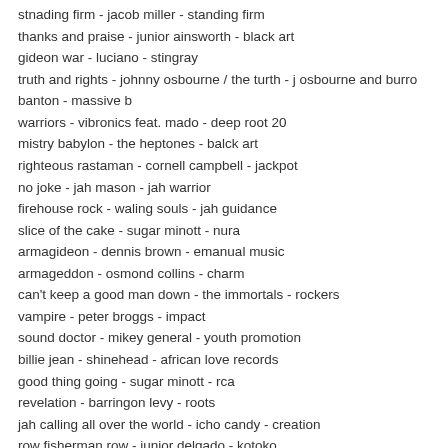stnading firm - jacob miller - standing firm
thanks and praise - junior ainsworth - black art
gideon war - luciano - stingray
truth and rights - johnny osbourne / the turth - j osbourne and burro
banton - massive b
warriors - vibronics feat. mado - deep root 20
mistry babylon - the heptones - balck art
righteous rastaman - cornell campbell - jackpot
no joke - jah mason - jah warrior
firehouse rock - waling souls - jah guidance
slice of the cake - sugar minott - nura
armagideon - dennis brown - emanual music
armageddon - osmond collins - charm
can't keep a good man down - the immortals - rockers
vampire - peter broggs - impact
sound doctor - mikey general - youth promotion
billie jean - shinehead - african love records
good thing going - sugar minott - rca
revelation - barringon levy - roots
jah calling all over the world - icho candy - creation
row fisherman row - junior delgado - kotoko
jah jah jahoviah - ronnie davis - jackpot
my fathers land - ripton hlyton - eek-a-mouse records